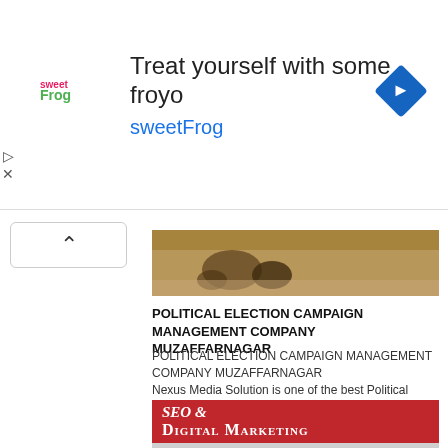[Figure (screenshot): Advertisement banner for sweetFrog frozen yogurt with logo, text 'Treat yourself with some froyo sweetFrog', and a blue diamond navigation icon]
[Figure (photo): Partial photo showing keys on a wooden surface]
POLITICAL ELECTION CAMPAIGN MANAGEMENT COMPANY MUZAFFARNAGAR
POLITICAL ELECTION CAMPAIGN MANAGEMENT COMPANY MUZAFFARNAGAR Nexus Media Solution is one of the best Political
[Figure (infographic): SEO & Digital Marketing infographic with red header bar and colorful sidebar bars labeled with media, ce SEO, ertisement, with digital marketing icons on gray background]